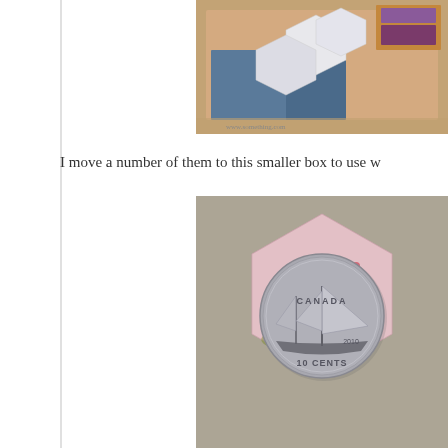[Figure (photo): A cardboard box containing white hexagon paper pieces for quilting, with colorful fabric visible.]
I move a number of them to this smaller box to use w
[Figure (photo): A pink floral fabric hexagon with a Canadian 10 cent coin placed on top for size reference, on a cardboard background.]